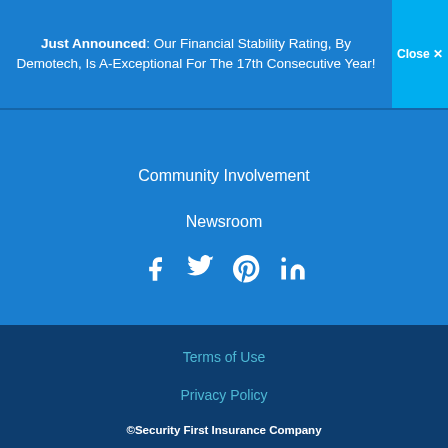Just Announced: Our Financial Stability Rating, By Demotech, Is A-Exceptional For The 17th Consecutive Year!
Close ✕
Community Involvement
Newsroom
[Figure (infographic): Social media icons: Facebook, Twitter, Pinterest, LinkedIn]
Terms of Use
Privacy Policy
©Security First Insurance Company